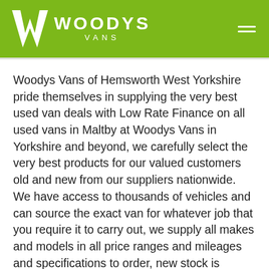WOODYS VANS
Woodys Vans of Hemsworth West Yorkshire pride themselves in supplying the very best used van deals with Low Rate Finance on all used vans in Maltby at Woodys Vans in Yorkshire and beyond, we carefully select the very best products for our valued customers old and new from our suppliers nationwide. We have access to thousands of vehicles and can source the exact van for whatever job that you require it to carry out, we supply all makes and models in all price ranges and mileages and specifications to order, new stock is arriving daily, if we don't have one in stock we will source it just for you, so if you are looking for a small economic diesel van, a medium size diesel van or a long wheelbase diesel van we can supply them all, also we have access to flatbeds, Luton's and all other